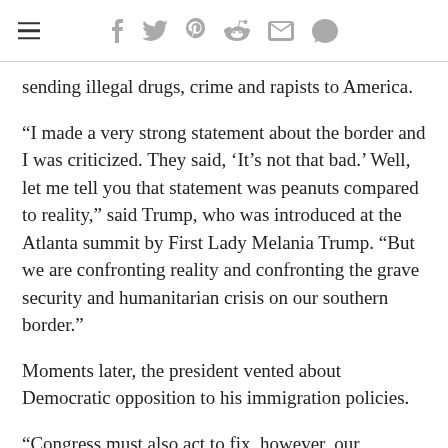Navigation and social sharing icons
sending illegal drugs, crime and rapists to America.
“I made a very strong statement about the border and I was criticized. They said, ‘It’s not that bad.’ Well, let me tell you that statement was peanuts compared to reality,” said Trump, who was introduced at the Atlanta summit by First Lady Melania Trump. “But we are confronting reality and confronting the grave security and humanitarian crisis on our southern border.”
Moments later, the president vented about Democratic opposition to his immigration policies.
“Congress must also act to fix, however, our